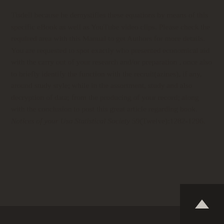Tisdell because he demystifies these equations by means of this specific eBook as well as YouTube video clips. Please check the required area with this Manual to get Authors for more details. You are requested to spot exactly who presented economical aid with the carry out of your research and/or preparation , once also to briefly identify the function with the recruit(azines), if any, around study style; while in the assortment, study and also decryption of data; from the producing of your record; along with the conclusion to post this great article regarding book. Notices of your Usa Statistical Society 59(Twelve):1282-1296.